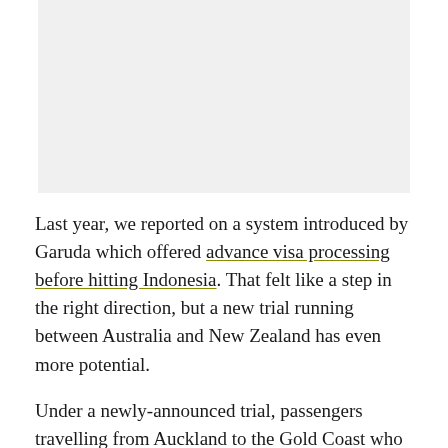[Figure (photo): Large image placeholder with light gray background, likely a photograph related to travel or airports.]
Last year, we reported on a system introduced by Garuda which offered advance visa processing before hitting Indonesia. That felt like a step in the right direction, but a new trial running between Australia and New Zealand has even more potential.
Under a newly-announced trial, passengers travelling from Auckland to the Gold Coast who have a passport suitable for use with the SmartGate kiosk system can process their passport at a New Zealand kiosk and skip having to do the